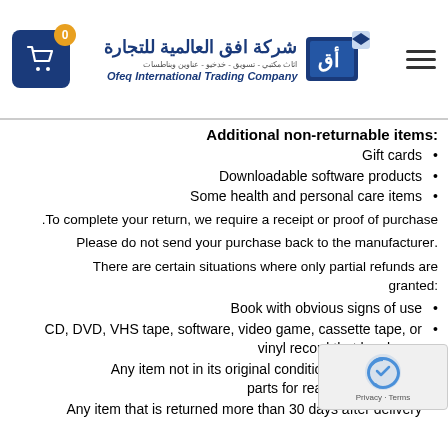Ofeq International Trading Company
Additional non-returnable items:
Gift cards
Downloadable software products
Some health and personal care items
To complete your return, we require a receipt or proof of purchase.
Please do not send your purchase back to the manufacturer.
There are certain situations where only partial refunds are granted:
Book with obvious signs of use
CD, DVD, VHS tape, software, video game, cassette tape, or vinyl record that has been.
Any item not in its original condition, is damaged or parts for reasons not due to.
Any item that is returned more than 30 days after delivery